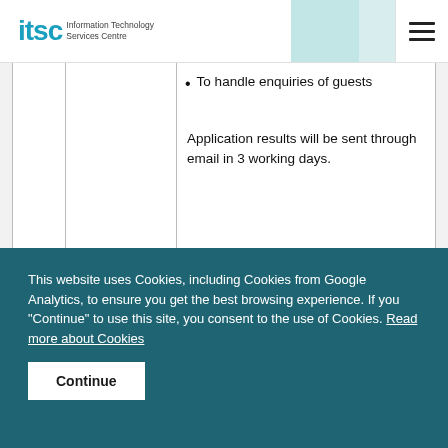ITSC Information Technology Services Centre
|  |  | • To handle enquiries of guests

Application results will be sent through email in 3 working days. |
This website uses Cookies, including Cookies from Google Analytics, to ensure you get the best browsing experience. If you "Continue" to use this site, you consent to the use of Cookies. Read more about Cookies
Continue